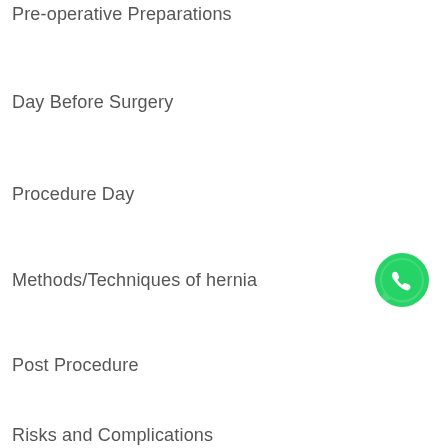Pre-operative Preparations
Day Before Surgery
Procedure Day
Methods/Techniques of hernia
[Figure (logo): WhatsApp green phone icon]
Post Procedure
Risks and Complications